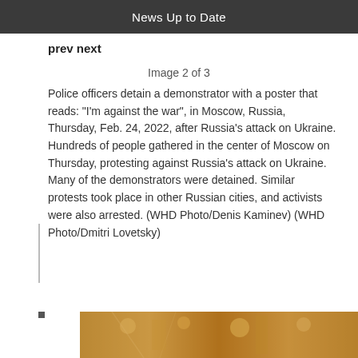News Up to Date
prev next
Image 2 of 3
Police officers detain a demonstrator with a poster that reads: “I’m against the war”, in Moscow, Russia, Thursday, Feb. 24, 2022, after Russia’s attack on Ukraine. Hundreds of people gathered in the center of Moscow on Thursday, protesting against Russia’s attack on Ukraine. Many of the demonstrators were detained. Similar protests took place in other Russian cities, and activists were also arrested. (WHD Photo/Denis Kaminev) (WHD Photo/Dmitri Lovetsky)
[Figure (photo): Bottom strip showing a nighttime protest or gathering scene with warm golden lighting, partial view of people and lights.]